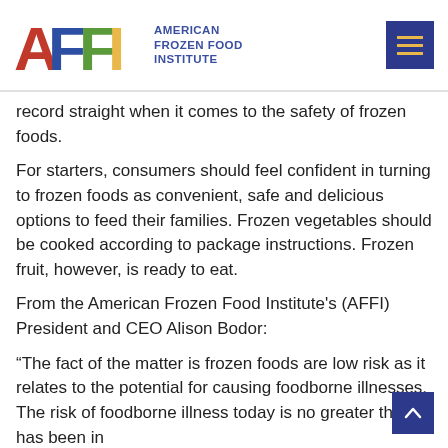[Figure (logo): AFFI - American Frozen Food Institute logo with colorful letters A (red), F (blue), F (green), I (yellow/gold) and blue text 'AMERICAN FROZEN FOOD INSTITUTE']
record straight when it comes to the safety of frozen foods.
For starters, consumers should feel confident in turning to frozen foods as convenient, safe and delicious options to feed their families. Frozen vegetables should be cooked according to package instructions. Frozen fruit, however, is ready to eat.
From the American Frozen Food Institute's (AFFI) President and CEO Alison Bodor:
“The fact of the matter is frozen foods are low risk as it relates to the potential for causing foodborne illnesses. The risk of foodborne illness today is no greater than it has been in